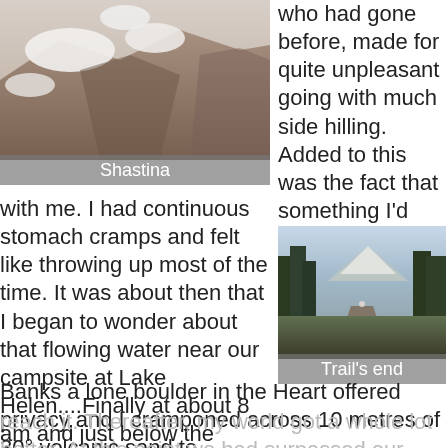[Figure (photo): Mountain peak (Shastina) with snow patches on rocky volcanic terrain, viewed from above.]
Shastina
who had gone before, made for quite unpleasant going with much side hilling. Added to this was the fact that something I'd ingested had disagreed
with me. I had continuous stomach cramps and felt like throwing up most of the time. It was about then that I began to wonder about that flowing water near our campsite at Lake Helen....Finally at about 8 am and just below the
[Figure (photo): Forest trail with tall pine trees on both sides, and a snow-capped mountain visible in the background. A hiker is visible on the trail.]
Trail's end
Banks a lone boulder in the Heart offered privacy and I cramponed across 10 metres of 30° volcanic sand to
reach it. Thereafter, my world got a whole lot better. At this point we had surpassed our 2005 high point and this also contributed to my newfound sense of well-being.